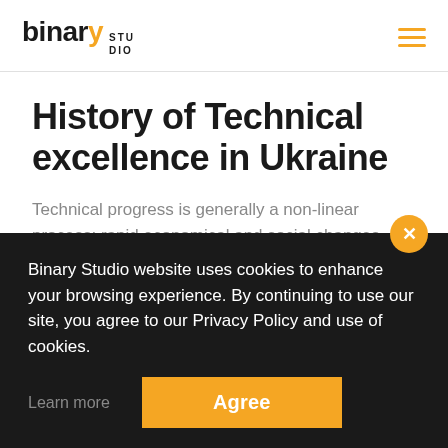binary STUDIO
History of Technical excellence in Ukraine
Technical progress is generally a non-linear process; rapid economical and social changes caused by it often re-arrange the hierarchy. New circumstances make new
Binary Studio website uses cookies to enhance your browsing experience. By continuing to use our site, you agree to our Privacy Policy and use of cookies.
Learn more
Agree